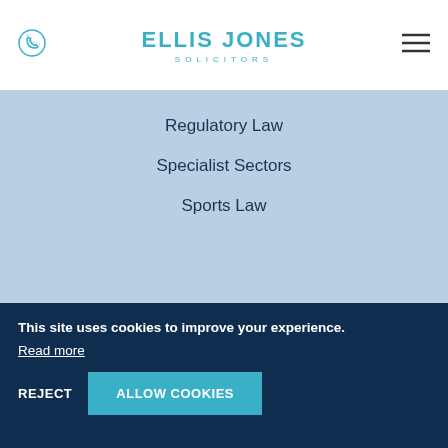[Figure (logo): Ellis Jones Solicitors logo in teal/cyan with phone icon on left and hamburger menu on right]
Regulatory Law
Specialist Sectors
Sports Law
© 2022 Ellis Jones Solicitors LLP All rights reserved.
This site uses cookies to improve your experience.
Read more
REJECT
ALLOW COOKIES